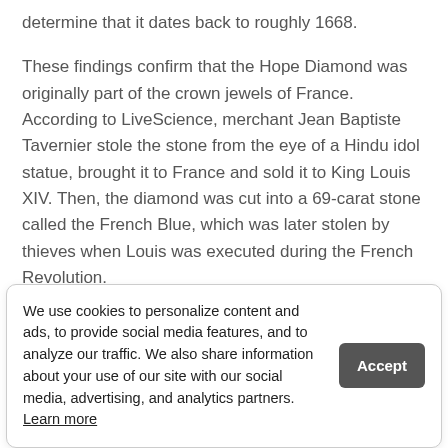determine that it dates back to roughly 1668.
These findings confirm that the Hope Diamond was originally part of the crown jewels of France. According to LiveScience, merchant Jean Baptiste Tavernier stole the stone from the eye of a Hindu idol statue, brought it to France and sold it to King Louis XIV. Then, the diamond was cut into a 69-carat stone called the French Blue, which was later stolen by thieves when Louis was executed during the French Revolution.
The diamond disappeared for decades and eventually turned up in London. Financier Henry Philip Hope purchased the stone, which had been cut down from its original size. Some believe the name Hope Diamond and eventually was bought by American jeweler Pierre
We use cookies to personalize content and ads, to provide social media features, and to analyze our traffic. We also share information about your use of our site with our social media, advertising, and analytics partners. Learn more